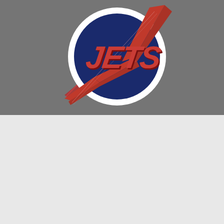[Figure (logo): Newman University Jets athletic logo — dark navy blue circle with white ring border, red bold italic JETS lettering, and a red lightning bolt/swoosh diagonal stripe crossing the circle from upper-right to lower-left against a grey background.]
The fall 2020 sports season for Newman University student-athletes was abruptly put on hold due to a national pandemic. But the Jets are looking to end their 2020-2021 season on… Continue reading
Published January 7, 2021